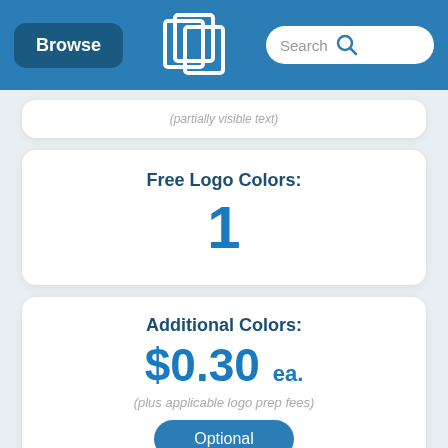Browse | [Logo] | Search
(partially visible text)
Free Logo Colors: 1
Additional Colors: $0.30 ea. (plus applicable logo prep fees)
Optional